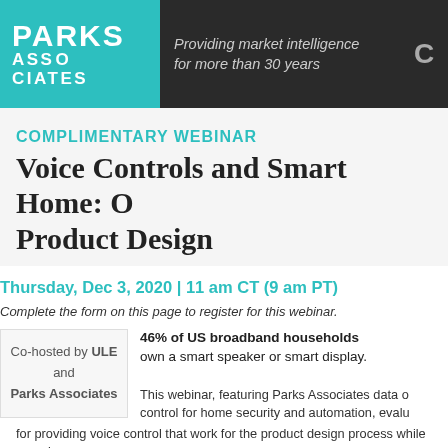Parks Associates — Providing market intelligence for more than 30 years
COMPLIMENTARY WEBINAR
Voice Controls and Smart Home: O... Product Design
Thursday, Dec 3, 2020 | 11 am CT (9 am PT)
Complete the form on this page to register for this webinar.
Co-hosted by ULE and Parks Associates
46% of US broadband households own a smart speaker or smart display.
This webinar, featuring Parks Associates data on... control for home security and automation, evalu... for providing voice control that work for the product design process while ensuring q... mission-critical use cases.